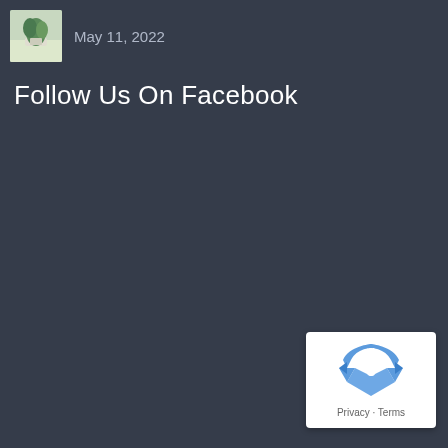[Figure (photo): Small thumbnail photo of a plant with white pot on light background]
May 11, 2022
Follow Us On Facebook
[Figure (logo): Google reCAPTCHA badge with recycling arrow icon and Privacy - Terms text]